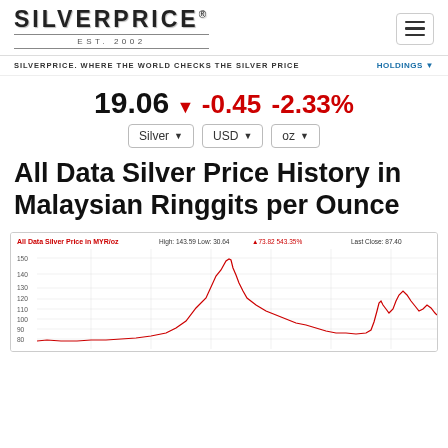[Figure (logo): SilverPrice Est. 2002 logo with hamburger menu icon]
SILVERPRICE. WHERE THE WORLD CHECKS THE SILVER PRICE    HOLDINGS
19.06 ▼ -0.45 -2.33%
Silver | USD | oz dropdowns
All Data Silver Price History in Malaysian Ringgits per Ounce
[Figure (line-chart): Line chart showing all-data silver price history in MYR/oz. High: 143.59 Low: 30.64 +73.82 543.35%. Last Close: 87.40. Y-axis shows values from ~70 to 150. Chart shows historical price with a peak around 140+ and recent values around 87-110.]